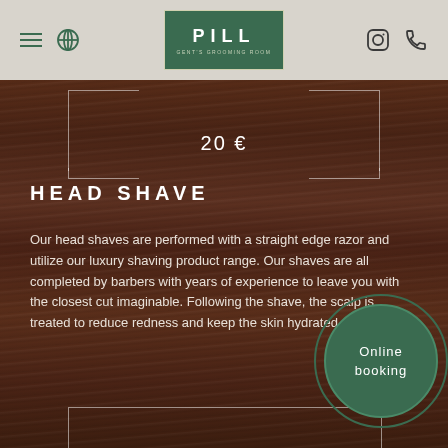PILL grooming room navigation bar
20 €
HEAD SHAVE
Our head shaves are performed with a straight edge razor and utilize our luxury shaving product range. Our shaves are all completed by barbers with years of experience to leave you with the closest cut imaginable. Following the shave, the scalp is treated to reduce redness and keep the skin hydrated.
Online booking